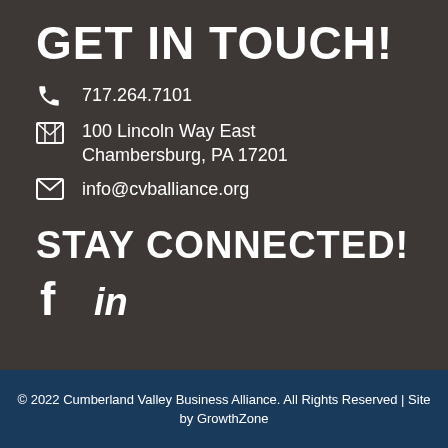GET IN TOUCH!
717.264.7101
100 Lincoln Way East
Chambersburg, PA 17201
info@cvballiance.org
STAY CONNECTED!
[Figure (logo): Facebook and LinkedIn social media icons]
© 2022 Cumberland Valley Business Alliance.  All Rights Reserved | Site by GrowthZone